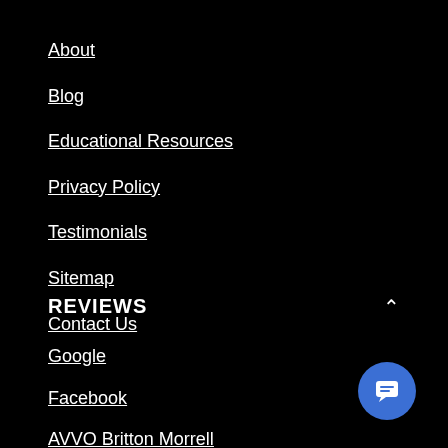About
Blog
Educational Resources
Privacy Policy
Testimonials
Sitemap
Contact Us
REVIEWS
Google
Facebook
AVVO Britton Morrell